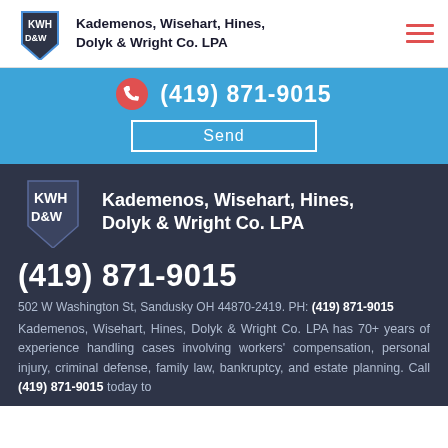Kademenos, Wisehart, Hines, Dolyk & Wright Co. LPA
(419) 871-9015
Send
[Figure (logo): KWH D&W law firm logo with Ohio state shape on dark background]
Kademenos, Wisehart, Hines, Dolyk & Wright Co. LPA
(419) 871-9015
502 W Washington St, Sandusky OH 44870-2419. PH: (419) 871-9015
Kademenos, Wisehart, Hines, Dolyk & Wright Co. LPA has 70+ years of experience handling cases involving workers' compensation, personal injury, criminal defense, family law, bankruptcy, and estate planning. Call (419) 871-9015 today to